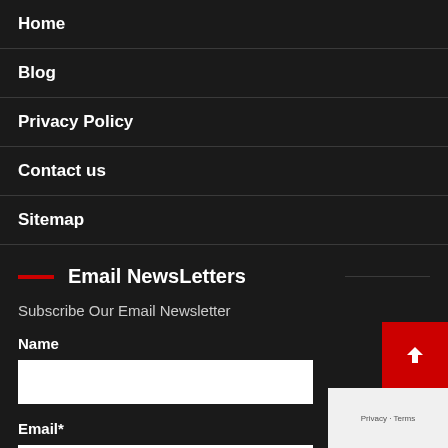Home
Blog
Privacy Policy
Contact us
Sitemap
Email NewsLetters
Subscribe Our Email Newsletter
Name
Email*